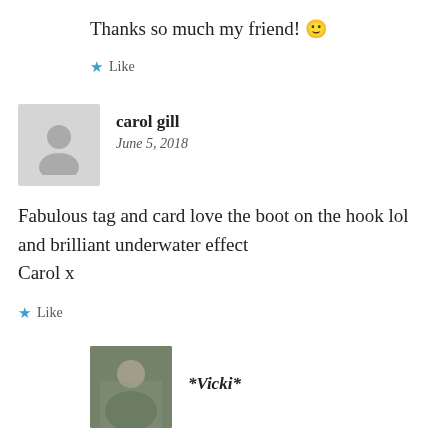Thanks so much my friend! 🙂
★ Like
carol gill
June 5, 2018
Fabulous tag and card love the boot on the hook lol and brilliant underwater effect
Carol x
★ Like
[Figure (photo): Small profile photo of a person outdoors]
*Vicki*